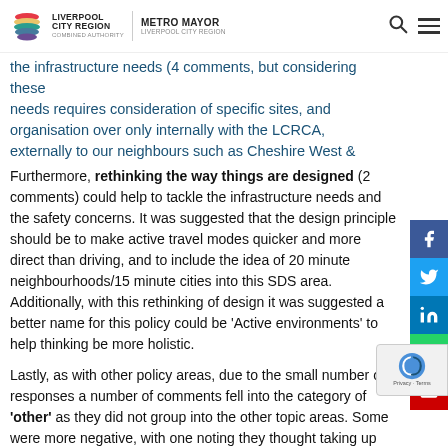Liverpool City Region Combined Authority / Metro Mayor Liverpool City Region
the infrastructure needs (4 comments, but considering these needs requires consideration of specific sites, and organisation over only internally with the LCRCA, externally to our neighbours such as Cheshire West & Chester).
Furthermore, rethinking the way things are designed (2 comments) could help to tackle the infrastructure needs and the safety concerns. It was suggested that the design principle should be to make active travel modes quicker and more direct than driving, and to include the idea of 20 minute neighbourhoods/15 minute cities into this SDS area. Additionally, with this rethinking of design it was suggested a better name for this policy could be ‘Active environments’ to help thinking be more holistic.
Lastly, as with other policy areas, due to the small number of responses a number of comments fell into the category of ‘other’ as they did not group into the other topic areas. Some were more negative, with one noting they thought taking up road space and causing traffic if cycle lanes are not used does not make sense, and another raised concerns about how this would work in practice and if otherwise sustainable developments could be impeded by this policy.
On the other hand, one comment highlighted how active travel